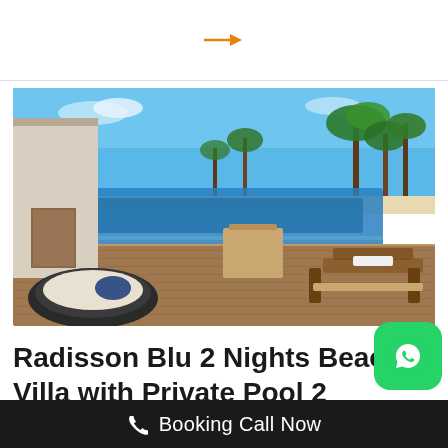[Figure (other): Orange right-arrow icon on white background with bottom divider line]
[Figure (photo): Resort photo showing a beach villa with private infinity pool, wooden deck with lounge chairs, palm trees, white sandy beach and blue ocean in the background at Radisson Blu resort]
Radisson Blu 2 Nights Beach Villa with Private Pool 2 Nights Overwater
[Figure (other): WhatsApp green button icon]
Booking Call Now